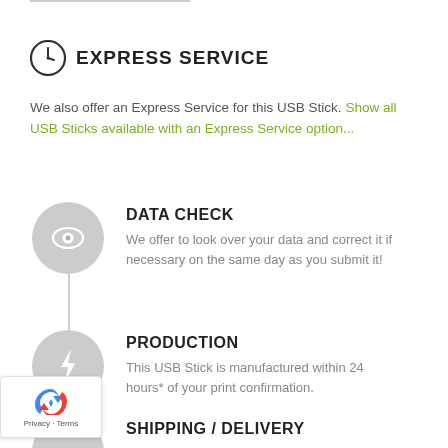EXPRESS SERVICE
We also offer an Express Service for this USB Stick. Show all USB Sticks available with an Express Service option...
DATA CHECK
We offer to look over your data and correct it if necessary on the same day as you submit it!
PRODUCTION
This USB Stick is manufactured within 24 hours* of your print confirmation.
SHIPPING / DELIVERY
Upon completion, your USB Sticks are shipped